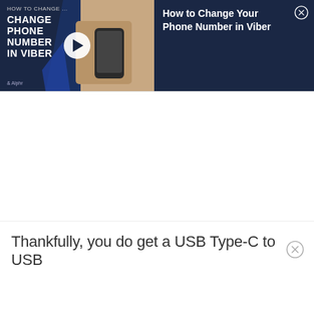[Figure (screenshot): Video card showing 'How to Change Your Phone Number in Viber' tutorial with thumbnail on left (dark navy background with bold white text 'CHANGE PHONE NUMBER IN VIBER', play button, person holding phone) and title text on right dark navy panel with close X button.]
Thankfully, you do get a USB Type-C to USB